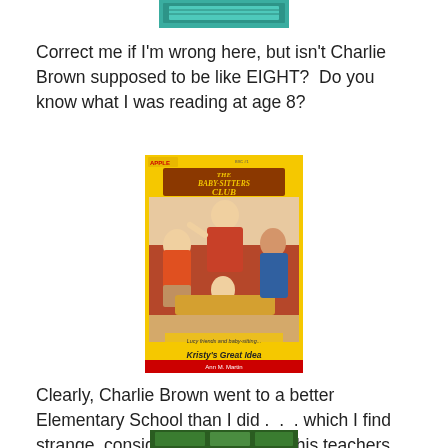[Figure (illustration): Top portion of a book cover with teal/green color, partially cut off at top of page]
Correct me if I'm wrong here, but isn't Charlie Brown supposed to be like EIGHT?  Do you know what I was reading at age 8?
[Figure (photo): Book cover of 'The Baby-Sitters Club: Kristy's Great Idea' by Ann M. Martin, published by Apple/Scholastic. Yellow cover showing several girls sitting and lounging together.]
Clearly, Charlie Brown went to a better Elementary School than I did .  .  . which I find strange, considering that none of his teachers seemed to have a particularly solid grasp of the English language.
[Figure (photo): Bottom portion of another book or image, partially cut off at bottom of page]